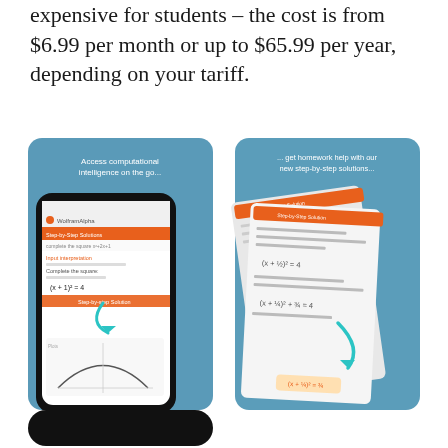expensive for students – the cost is from $6.99 per month or up to $65.99 per year, depending on your tariff.
[Figure (screenshot): Two app screenshots side by side on a teal/blue background. Left screenshot shows a phone with Wolfram Alpha app displaying 'complete the square x^2+2x+1' with step-by-step solution and a parabola graph, with text 'Access computational intelligence on the go...'. Right screenshot shows step-by-step solution papers with 'get homework help with our new step-by-step solutions...' text and teal arrow.]
[Figure (screenshot): Partial black rounded rectangle button at bottom of page.]